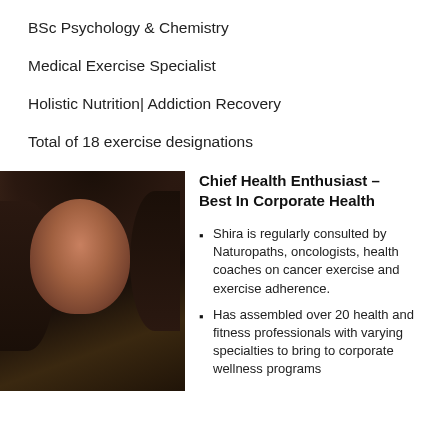BSc Psychology & Chemistry
Medical Exercise Specialist
Holistic Nutrition| Addiction Recovery
Total of 18 exercise designations
[Figure (photo): Portrait photo of a woman with dark hair, smiling, dark background]
Chief Health Enthusiast – Best In Corporate Health
Shira is regularly consulted by Naturopaths, oncologists, health coaches on cancer exercise and exercise adherence.
Has assembled over 20 health and fitness professionals with varying specialties to bring to corporate wellness programs